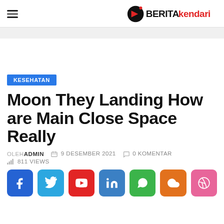Berita Kendari
KESEHATAN
Moon They Landing How are Main Close Space Really
OLEH ADMIN  9 DESEMBER 2021  0 KOMENTAR  811 VIEWS